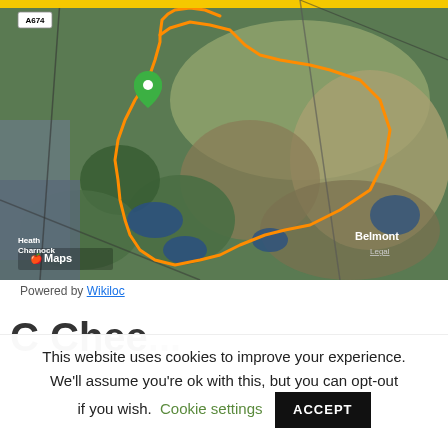[Figure (map): Satellite map showing a circular walking/cycling route traced in orange over moorland terrain near Heath Charnock and Belmont, with a green location pin marker. Road A674 labeled in top-left. Apple Maps attribution and Wikiloc powered-by text visible.]
Powered by Wikiloc
C Chee...
This website uses cookies to improve your experience. We'll assume you're ok with this, but you can opt-out if you wish. Cookie settings ACCEPT